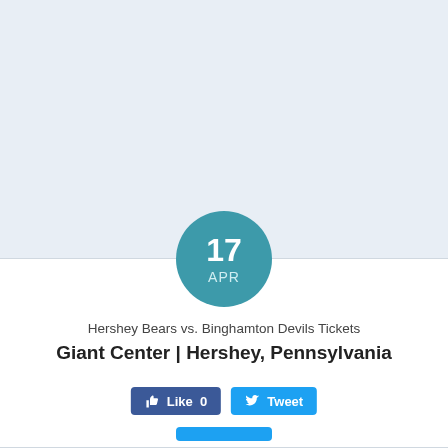[Figure (other): Teal circular date badge showing '17 APR']
Hershey Bears vs. Binghamton Devils Tickets
Giant Center | Hershey, Pennsylvania
[Figure (other): Facebook Like button with count 0 and Twitter Tweet button]